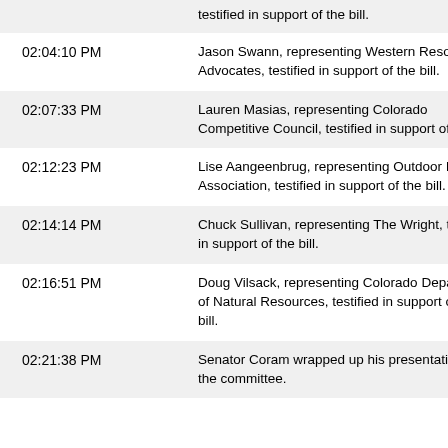| Time | Description |
| --- | --- |
|  | testified in support of the bill. |
| 02:04:10 PM | Jason Swann, representing Western Resource Advocates, testified in support of the bill. |
| 02:07:33 PM | Lauren Masias, representing Colorado Competitive Council, testified in support of the bill. |
| 02:12:23 PM | Lise Aangeenbrug, representing Outdoor Industry Association, testified in support of the bill. |
| 02:14:14 PM | Chuck Sullivan, representing The Wright, testified in support of the bill. |
| 02:16:51 PM | Doug Vilsack, representing Colorado Department of Natural Resources, testified in support of the bill. |
| 02:21:38 PM | Senator Coram wrapped up his presentation to the committee. |